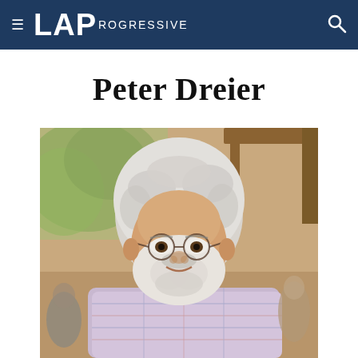LA Progressive
Peter Dreier
[Figure (photo): Portrait photo of Peter Dreier, an older white-haired man with round wire-rimmed glasses and a white beard, smiling, wearing a plaid shirt, photographed indoors near a wooden doorframe with greenery visible in the background.]